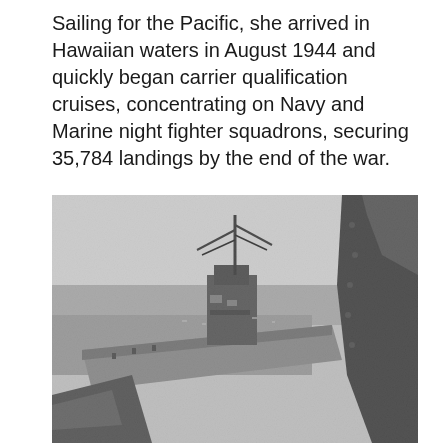Sailing for the Pacific, she arrived in Hawaiian waters in August 1944 and quickly began carrier qualification cruises, concentrating on Navy and Marine night fighter squadrons, securing 35,784 landings by the end of the war.
[Figure (photo): Black and white photograph taken from a cockpit or aircraft, showing a naval aircraft carrier's deck and island superstructure with antenna mast, viewed from above and behind another aircraft. The ocean is visible in the background. The foreground shows part of the aircraft fuselage or canopy frame on the right side.]